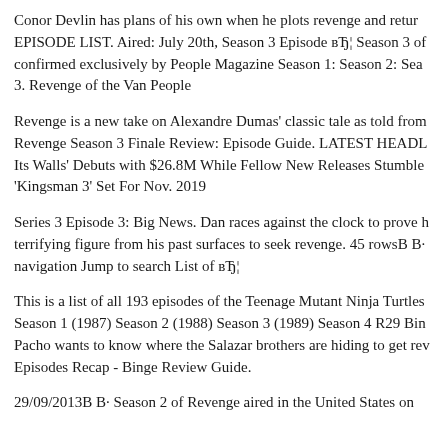Conor Devlin has plans of his own when he plots revenge and return EPISODE LIST. Aired: July 20th, Season 3 Episode вЂ¦ Season 3 of confirmed exclusively by People Magazine Season 1: Season 2: Seas 3. Revenge of the Van People
Revenge is a new take on Alexandre Dumas' classic tale as told from Revenge Season 3 Finale Review: Episode Guide. LATEST HEADL Its Walls' Debuts with $26.8M While Fellow New Releases Stumble 'Kingsman 3' Set For Nov. 2019
Series 3 Episode 3: Big News. Dan races against the clock to prove h terrifying figure from his past surfaces to seek revenge. 45 rowsВ В· navigation Jump to search List of вЂ¦
This is a list of all 193 episodes of the Teenage Mutant Ninja Turtles Season 1 (1987) Season 2 (1988) Season 3 (1989) Season 4 R29 Bin Pacho wants to know where the Salazar brothers are hiding to get rev Episodes Recap - Binge Review Guide.
29/09/2013В В· Season 2 of Revenge aired in the United States on